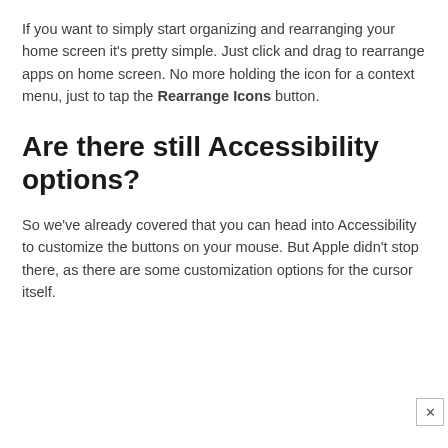If you want to simply start organizing and rearranging your home screen it's pretty simple. Just click and drag to rearrange apps on home screen. No more holding the icon for a context menu, just to tap the Rearrange Icons button.
Are there still Accessibility options?
So we've already covered that you can head into Accessibility to customize the buttons on your mouse. But Apple didn't stop there, as there are some customization options for the cursor itself.